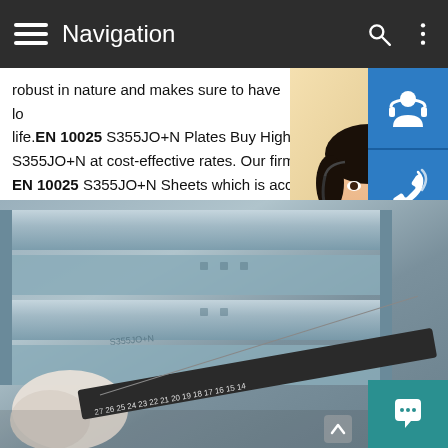Navigation
robust in nature and makes sure to have long life. EN 10025 S355JO+N Plates Buy High S355JO+N at cost-effective rates. Our firm EN 10025 S355JO+N Sheets which is acc complete ......Detailed
[Figure (photo): Customer service woman with headset]
[Figure (photo): Steel plates/sections being measured with a ruler, gloved hand holding measuring tape]
MANUAL SERVICE
QUOTING ORDER
bsteel1@163.com